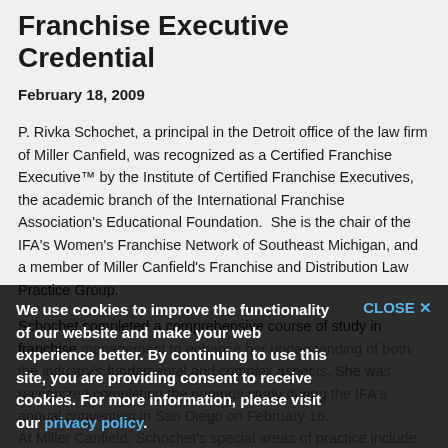Franchise Executive Credential
February 18, 2009
P. Rivka Schochet, a principal in the Detroit office of the law firm of Miller Canfield, was recognized as a Certified Franchise Executive™ by the Institute of Certified Franchise Executives, the academic branch of the International Franchise Association's Educational Foundation.  She is the chair of the IFA's Women's Franchise Network of Southeast Michigan, and a member of Miller Canfield's Franchise and Distribution Law Practice Group.
Schochet completed a comprehensive course of study in franchise management to enhance her understanding of both the industry's fundamental and complex aspects. She was recognized completing the rigorous study during the IFA's annual convention in San Diego on February 16.
At Miller Canfield, Schochet's special areas of practice include class action defense, franchise law and dispute resolution, constitutional and fair housing act claims, commercial arbitration.
We use cookies to improve the functionality of our website and make your web experience better. By continuing to use this site, you are providing consent to receive cookies. For more information, please visit our privacy policy.